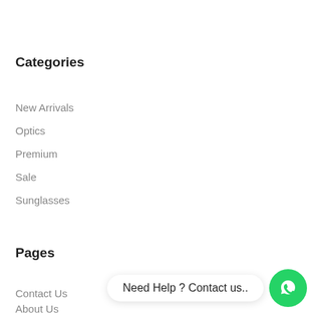Categories
New Arrivals
Optics
Premium
Sale
Sunglasses
Pages
Contact Us
About Us
[Figure (infographic): WhatsApp contact widget with speech bubble saying 'Need Help ? Contact us..' and a green WhatsApp icon button]